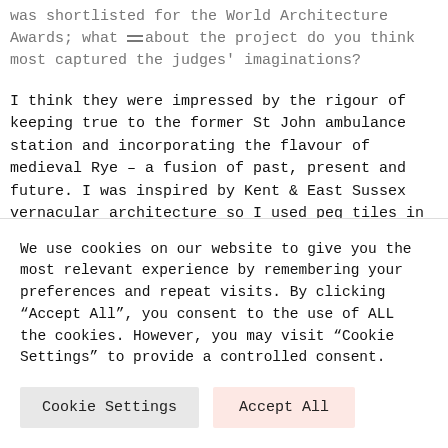was shortlisted for the World Architecture Awards; what about the project do you think most captured the judges' imaginations?
I think they were impressed by the rigour of keeping true to the former St John ambulance station and incorporating the flavour of medieval Rye – a fusion of past, present and future. I was inspired by Kent & East Sussex vernacular architecture so I used peg tiles in a modern way on the exterior.
The main space is vast, whilst the bedrooms are cosy, featuring two storey windows, timber cladding sits
We use cookies on our website to give you the most relevant experience by remembering your preferences and repeat visits. By clicking "Accept All", you consent to the use of ALL the cookies. However, you may visit "Cookie Settings" to provide a controlled consent.